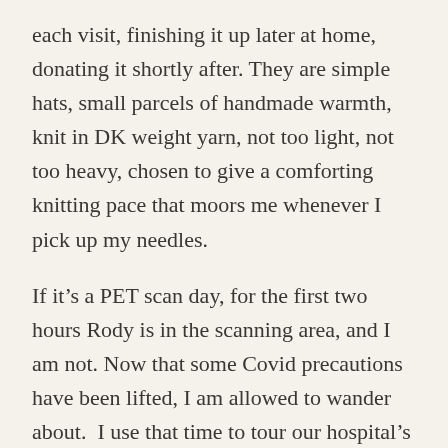each visit, finishing it up later at home, donating it shortly after. They are simple hats, small parcels of handmade warmth, knit in DK weight yarn, not too light, not too heavy, chosen to give a comforting knitting pace that moors me whenever I pick up my needles.
If it's a PET scan day, for the first two hours Rody is in the scanning area, and I am not. Now that some Covid precautions have been lifted, I am allowed to wander about.  I use that time to tour our hospital's art collection.  The lab work and the doctor's appointments which follow, both usually have short waits.  I might finish a few rows then.
When there's time in between them, we battle even the